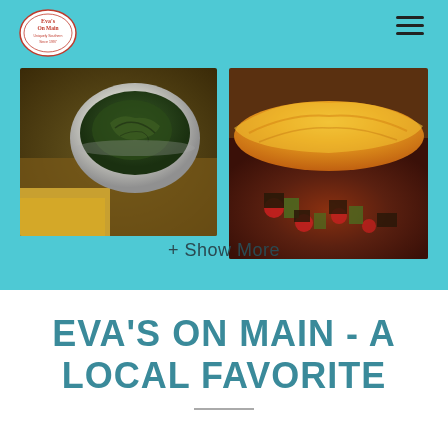[Figure (logo): Eva's On Main restaurant logo — circular badge with text 'Eva's On Main, Uniquely Southern, Since 1997']
[Figure (photo): Close-up food photo showing a bowl of cooked greens and cornbread on a wooden surface]
[Figure (photo): Close-up food photo showing a cheesy baked casserole dish with vegetables and meat]
+ Show More
EVA'S ON MAIN - A LOCAL FAVORITE